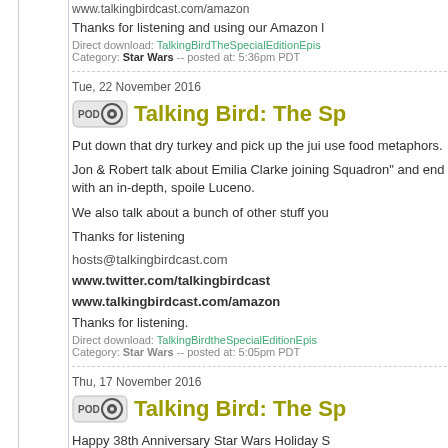www.talkingbirdcast.com/amazon
Thanks for listening and using our Amazon l
Direct download: TalkingBirdTheSpecialEditionEpis
Category: Star Wars -- posted at: 5:36pm PDT
Tue, 22 November 2016
Talking Bird: The Sp
Put down that dry turkey and pick up the jui use food metaphors.
Jon & Robert talk about Emilia Clarke joining Squadron" and end with an in-depth, spoiler Luceno.
We also talk about a bunch of other stuff you
Thanks for listening
hosts@talkingbirdcast.com
www.twitter.com/talkingbirdcast
www.talkingbirdcast.com/amazon
Thanks for listening.
Direct download: TalkingBirdtheSpecialEditionEpis
Category: Star Wars -- posted at: 5:05pm PDT
Thu, 17 November 2016
Talking Bird: The Sp
Happy 38th Anniversary Star Wars Holiday S